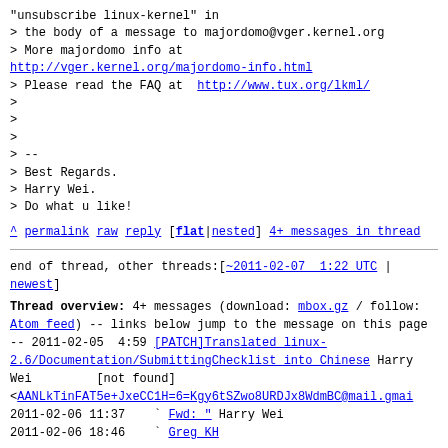"unsubscribe linux-kernel" in
> the body of a message to majordomo@vger.kernel.org
> More majordomo info at
http://vger.kernel.org/majordomo-info.html
> Please read the FAQ at  http://www.tux.org/lkml/
>
>
>
> --
> Best Regards.
> Harry Wei.
> Do what u like!
^ permalink raw reply    [flat|nested] 4+ messages in thread
end of thread, other threads:[~2011-02-07  1:22 UTC | newest]
Thread overview: 4+ messages (download: mbox.gz / follow: Atom feed)
-- links below jump to the message on this page --
2011-02-05  4:59 [PATCH]Translated linux-2.6/Documentation/SubmittingChecklist into Chinese
Harry Wei
        [not found]
<AANLkTinFAT5e+JxeCC1H=6=Kgy6tSZwo8URDJx8WdmBC@mail.gmail.
2011-02-06 11:37    ` Fwd: " Harry Wei
2011-02-06 18:46    ` Greg KH